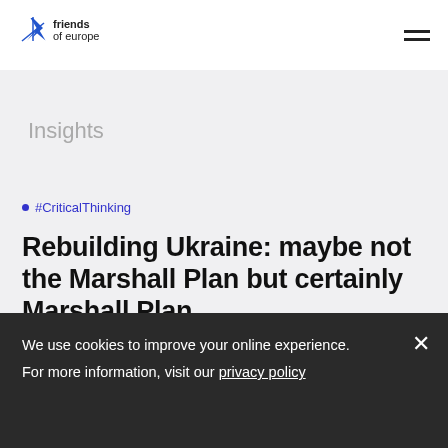friends of europe — navigation header with logo and menu
Insights
#CriticalThinking
Rebuilding Ukraine: maybe not the Marshall Plan but certainly Marshall Plan…
We use cookies to improve your online experience. For more information, visit our privacy policy